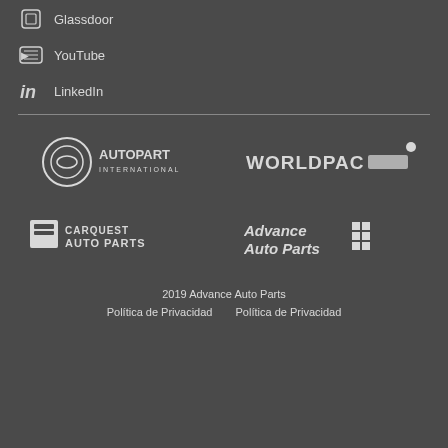Glassdoor
YouTube
LinkedIn
[Figure (logo): Autopart International logo in white]
[Figure (logo): Worldpac logo in white]
[Figure (logo): Carquest Auto Parts logo in white]
[Figure (logo): Advance Auto Parts logo in white]
2019 Advance Auto Parts
Política de Privacidad   Política de Privacidad